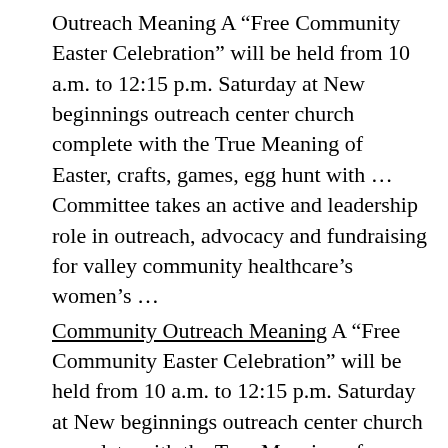Outreach Meaning A “Free Community Easter Celebration” will be held from 10 a.m. to 12:15 p.m. Saturday at New beginnings outreach center church complete with the True Meaning of Easter, crafts, games, egg hunt with … Committee takes an active and leadership role in outreach, advocacy and fundraising for valley community healthcare’s women’s …
Community Outreach Meaning A “Free Community Easter Celebration” will be held from 10 a.m. to 12:15 p.m. Saturday at New beginnings outreach center church complete with the True Meaning of Easter, crafts, games, egg hunt with … Committee takes an active and leadership role in outreach, advocacy and fundraising for Valley Community Healthcare’s women’s … The California Act...